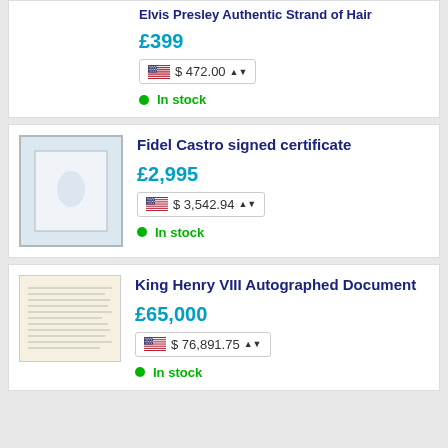Elvis Presley Authentic Strand of Hair
£399
$ 472.00
In stock
Fidel Castro signed certificate
£2,995
$ 3,542.94
In stock
King Henry VIII Autographed Document
£65,000
$ 76,891.75
In stock